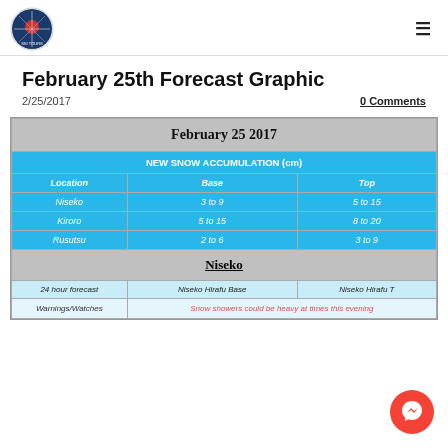Japan Ski Tours logo and navigation
February 25th Forecast Graphic
2/25/2017
0 Comments
| Location | Base | Top |
| --- | --- | --- |
| February 25 2017 |  |  |
| NEW SNOW ACCUMULATION (cm) |  |  |
| Location | Base | Top |
| Niseko | 3 to 9 | 5 to 15 |
| Kiroro | 5 to 15 | 8 to 20 |
| Rusutsu | 2 to 6 | 3 to 9 |
| Niseko |  |  |
| 24 hour forecast | Niseko Hirafu Base | Niseko Hirafu T |
| Warnings/Watches | Snow showers could be heavy at times this evening |  |